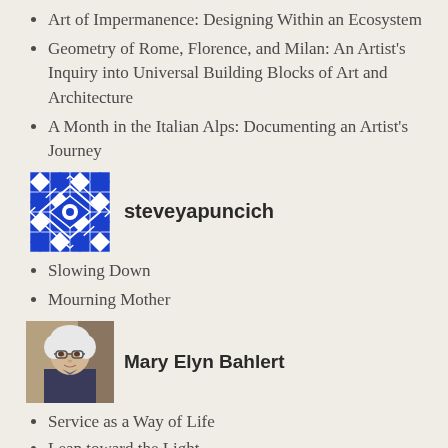Art of Impermanence: Designing Within an Ecosystem
Geometry of Rome, Florence, and Milan: An Artist's Inquiry into Universal Building Blocks of Art and Architecture
A Month in the Italian Alps: Documenting an Artist's Journey
[Figure (illustration): Blue and white geometric quilt-pattern avatar for steveyapuncich]
steveyapuncich
Slowing Down
Mourning Mother
[Figure (photo): Photo of Mary Elyn Bahlert, an older woman with white hair and glasses]
Mary Elyn Bahlert
Service as a Way of Life
Lean toward the Light…
As We Walk Among the Graves
Sabbath
From Despair, a Gift